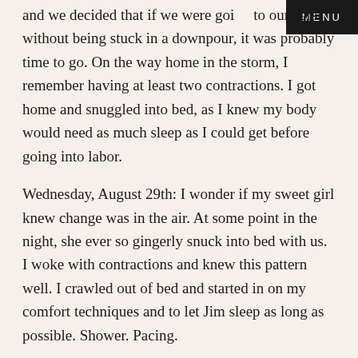MENU
and we decided that if we were going to our cars without being stuck in a downpour, it was probably time to go. On the way home in the storm, I remember having at least two contractions. I got home and snuggled into bed, as I knew my body would need as much sleep as I could get before going into labor.
Wednesday, August 29th: I wonder if my sweet girl knew change was in the air. At some point in the night, she ever so gingerly snuck into bed with us. I woke with contractions and knew this pattern well. I crawled out of bed and started in on my comfort techniques and to let Jim sleep as long as possible. Shower. Pacing.